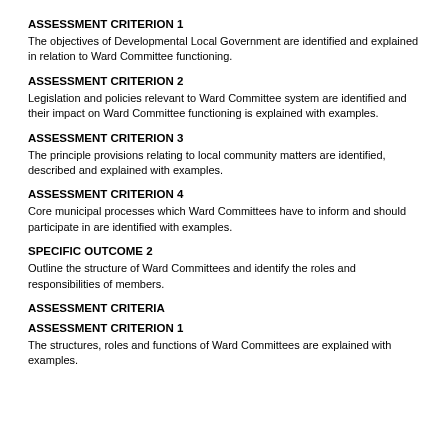ASSESSMENT CRITERION 1
The objectives of Developmental Local Government are identified and explained in relation to Ward Committee functioning.
ASSESSMENT CRITERION 2
Legislation and policies relevant to Ward Committee system are identified and their impact on Ward Committee functioning is explained with examples.
ASSESSMENT CRITERION 3
The principle provisions relating to local community matters are identified, described and explained with examples.
ASSESSMENT CRITERION 4
Core municipal processes which Ward Committees have to inform and should participate in are identified with examples.
SPECIFIC OUTCOME 2
Outline the structure of Ward Committees and identify the roles and responsibilities of members.
ASSESSMENT CRITERIA
ASSESSMENT CRITERION 1
The structures, roles and functions of Ward Committees are explained with examples.